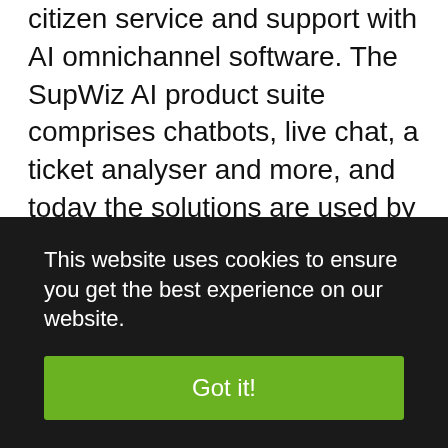citizen service and support with AI omnichannel software. The SupWiz AI product suite comprises chatbots, live chat, a ticket analyser and more, and today the solutions are used by thousands of service agents and millions of end users. The client base includes municipalities, IT service companies, telcos and hosting providers. The SupWiz team consists of 20 multi-disciplinary experts (including 12 PhDs in Algorithms/ML/Statistics). Among these are world-leading experts in algorithms, AI and statistics, successful software entrepreneurs who have
This website uses cookies to ensure you get the best experience on our website.
Got it!